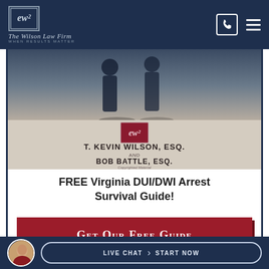The Wilson Law Firm — When Results Matter
[Figure (illustration): Book cover showing T. Kevin Wilson, Esq. and Bob Battle, Esq. — Virginia DUI/DWI Arrest Survival Guide, with two silhouetted figures in background and Wilson Law Firm logo]
FREE Virginia DUI/DWI Arrest Survival Guide!
[Figure (other): Red call-to-action button reading 'Get Our Free Guide']
Live Chat | Start Now